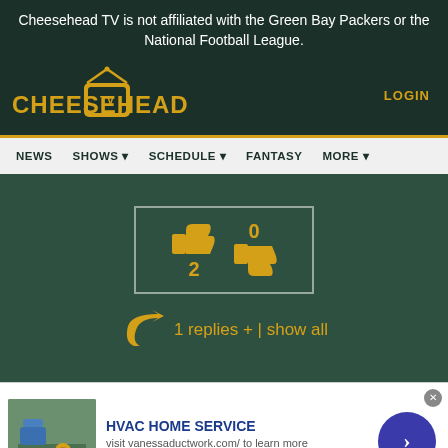Cheesehead TV is not affiliated with the Green Bay Packers or the National Football League.
[Figure (logo): Cheesehead TV logo with antenna TV icon]
LOGIN
NEWS | SHOWS | SCHEDULE | FANTASY | MORE
[Figure (infographic): Vote counts: thumbs up icon showing 2, thumbs down icon showing 0, inside a bordered box]
1 replies +  | show all
[Figure (screenshot): HVAC Home Service advertisement with image, title, subtitle and arrow button. Title: HVAC HOME SERVICE. Subtitle: visit vanessaductwork.com/ to learn more. URL: www.vanessaductwork.com]